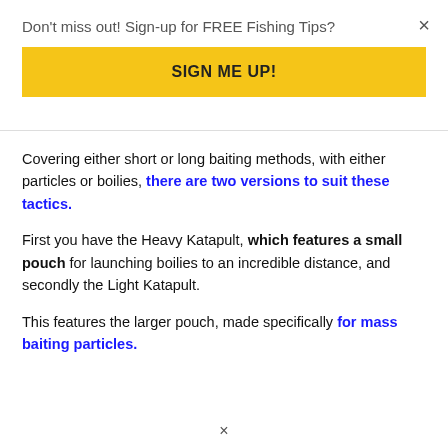Don't miss out! Sign-up for FREE Fishing Tips?
SIGN ME UP!
Covering either short or long baiting methods, with either particles or boilies, there are two versions to suit these tactics.
First you have the Heavy Katapult, which features a small pouch for launching boilies to an incredible distance, and secondly the Light Katapult.
This features the larger pouch, made specifically for mass baiting particles.